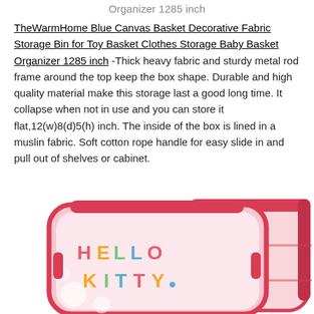Organizer 1285 inch
TheWarmHome Blue Canvas Basket Decorative Fabric Storage Bin for Toy Basket Clothes Storage Baby Basket Organizer 1285 inch -Thick heavy fabric and sturdy metal rod frame around the top keep the box shape. Durable and high quality material make this storage last a good long time. It collapse when not in use and you can store it flat,12(w)8(d)5(h) inch. The inside of the box is lined in a muslin fabric. Soft cotton rope handle for easy slide in and pull out of shelves or cabinet.
[Figure (photo): Two collapsible Hello Kitty fabric storage boxes with pink/red frame, one showing the front face with 'HELLO KITTY' text in colorful letters, partially cropped at bottom of page.]